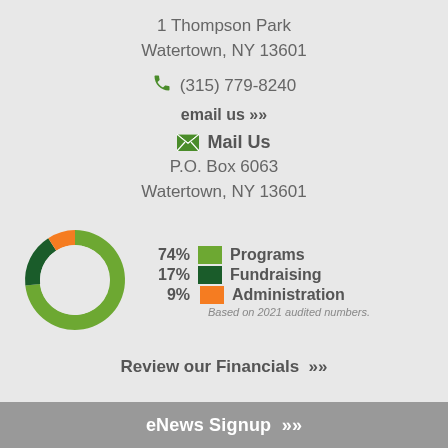1 Thompson Park
Watertown, NY 13601
(315) 779-8240
email us >>
Mail Us
P.O. Box 6063
Watertown, NY 13601
[Figure (donut-chart): Expense Breakdown]
Review our Financials >>
eNews Signup >>